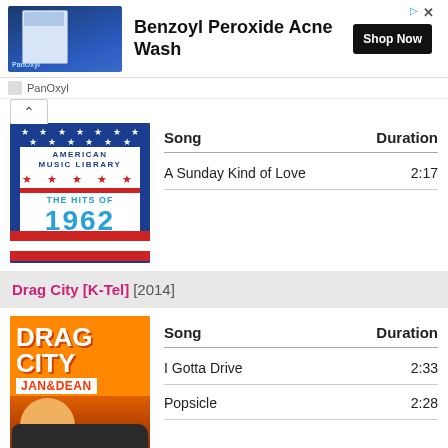[Figure (photo): Advertisement banner for Benzoyl Peroxide Acne Wash by PanOxyl with Shop Now button]
[Figure (photo): American Music Library - The Hits of 1962 album cover with patriotic US flag theme]
| Song | Duration |
| --- | --- |
| A Sunday Kind of Love | 2:17 |
Drag City [K-Tel] [2014]
[Figure (photo): Drag City by Jan & Dean album cover with orange background and bold typography]
| Song | Duration |
| --- | --- |
| I Gotta Drive | 2:33 |
| Popsicle | 2:28 |